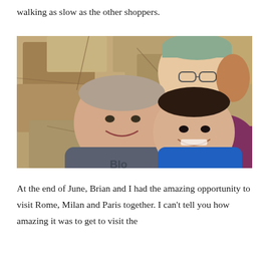walking as slow as the other shoppers.
[Figure (photo): A selfie-style photo of three people — a middle-aged man in a grey hoodie, a person with a cap and glasses behind him, and a young child in a blue shirt — all smiling and pressed together against a rocky stone background.]
At the end of June, Brian and I had the amazing opportunity to visit Rome, Milan and Paris together. I can't tell you how amazing it was to get to visit the